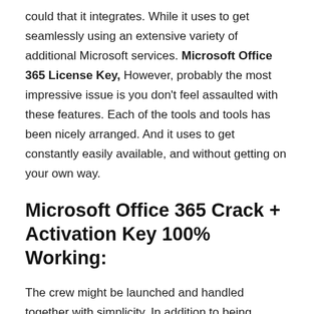could that it integrates. While it uses to get seamlessly using an extensive variety of additional Microsoft services. Microsoft Office 365 License Key, However, probably the most impressive issue is you don't feel assaulted with these features. Each of the tools and tools has been nicely arranged. And it uses to get constantly easily available, and without getting on your own way.
Microsoft Office 365 Crack + Activation Key 100% Working:
The crew might be launched and handled together with simplicity. In addition to being coordinated by the subject, job, or together with the assistance of